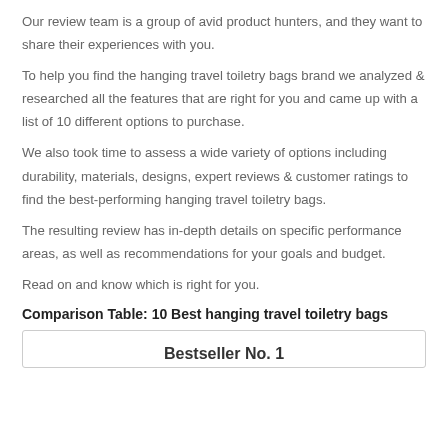Our review team is a group of avid product hunters, and they want to share their experiences with you.
To help you find the hanging travel toiletry bags brand we analyzed & researched all the features that are right for you and came up with a list of 10 different options to purchase.
We also took time to assess a wide variety of options including durability, materials, designs, expert reviews & customer ratings to find the best-performing hanging travel toiletry bags.
The resulting review has in-depth details on specific performance areas, as well as recommendations for your goals and budget.
Read on and know which is right for you.
Comparison Table: 10 Best hanging travel toiletry bags
| Bestseller No. 1 |
| --- |